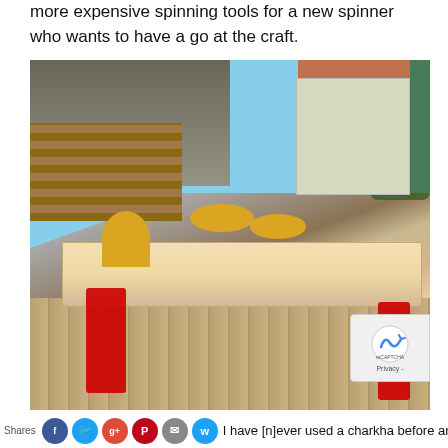more expensive spinning tools for a new spinner who wants to have a go at the craft.
[Figure (photo): A 3D printed charkha (spinning wheel) with yellow spindle discs mounted on a wooden board, clamped to an outdoor table with red C-clamps. Background shows a wooden shelter with stacked logs, a building, and trees under a blue sky.]
The 3D printed charkha ready for spinning.
I have [n]ever used a charkha before and have not[hing] to